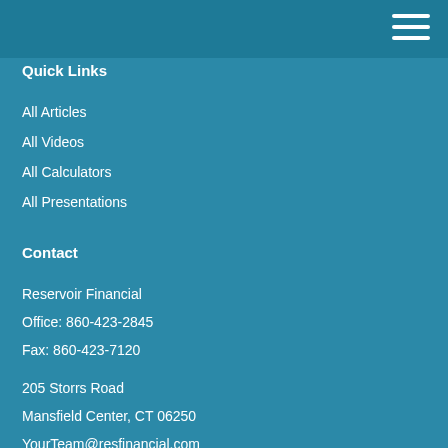Quick Links
All Articles
All Videos
All Calculators
All Presentations
Contact
Reservoir Financial
Office: 860-423-2845
Fax: 860-423-7120
205 Storrs Road
Mansfield Center, CT 06250
YourTeam@resfinancial.com